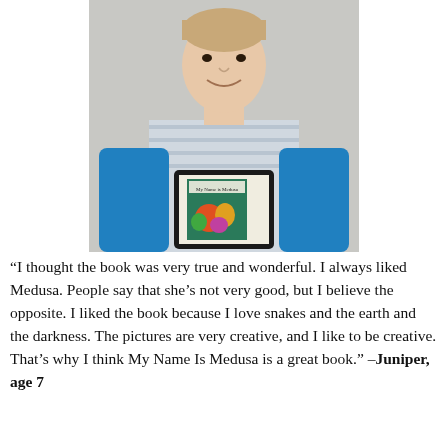[Figure (photo): A young boy with short hair wearing a blue long-sleeve shirt and a striped shirt, holding a tablet displaying a book cover for 'My Name Is Medusa'. He is standing against a gray wall.]
“I thought the book was very true and wonderful. I always liked Medusa. People say that she’s not very good, but I believe the opposite. I liked the book because I love snakes and the earth and the darkness. The pictures are very creative, and I like to be creative. That’s why I think My Name Is Medusa is a great book.” –Juniper, age 7